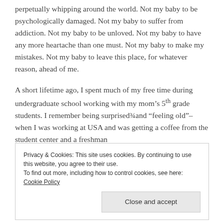perpetually whipping around the world. Not my baby to be psychologically damaged. Not my baby to suffer from addiction. Not my baby to be unloved. Not my baby to have any more heartache than one must. Not my baby to make my mistakes. Not my baby to leave this place, for whatever reason, ahead of me.
A short lifetime ago, I spent much of my free time during undergraduate school working with my mom's 5th grade students. I remember being surprised¾and “feeling old”–when I was working at USA and was getting a coffee from the student center and a freshman
Privacy & Cookies: This site uses cookies. By continuing to use this website, you agree to their use.
To find out more, including how to control cookies, see here: Cookie Policy
Close and accept